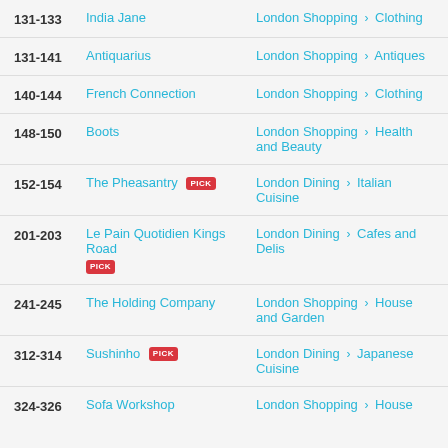131-133 | India Jane | London Shopping > Clothing
131-141 | Antiquarius | London Shopping > Antiques
140-144 | French Connection | London Shopping > Clothing
148-150 | Boots | London Shopping > Health and Beauty
152-154 | The Pheasantry PICK | London Dining > Italian Cuisine
201-203 | Le Pain Quotidien Kings Road PICK | London Dining > Cafes and Delis
241-245 | The Holding Company | London Shopping > House and Garden
312-314 | Sushinho PICK | London Dining > Japanese Cuisine
324-326 | Sofa Workshop | London Shopping > House